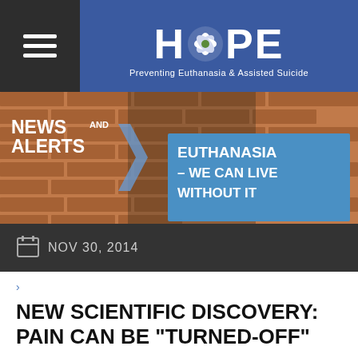[Figure (logo): HOPE logo with flower replacing letter O, subtitle: Preventing Euthanasia & Assisted Suicide, on blue background with dark hamburger menu sidebar]
[Figure (photo): News and Alerts banner with woman holding sign reading EUTHANASIA - WE CAN LIVE WITHOUT IT against brick wall background]
NOV 30, 2014
>
NEW SCIENTIFIC DISCOVERY: PAIN CAN BE "TURNED-OFF"